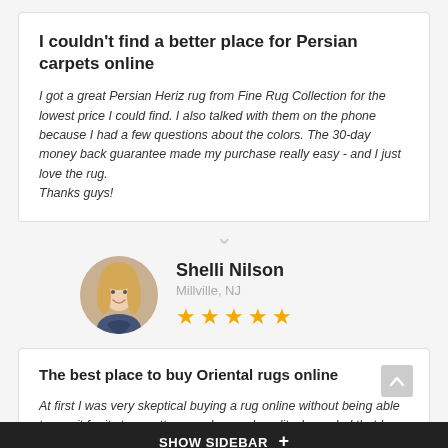I couldn't find a better place for Persian carpets online
I got a great Persian Heriz rug from Fine Rug Collection for the lowest price I could find. I also talked with them on the phone because I had a few questions about the colors. The 30-day money back guarantee made my purchase really easy - and I just love the rug. Thanks guys!
[Figure (photo): Round avatar photo of Shelli Nilson, a woman with blonde hair smiling]
Shelli Nilson
Millville, NJ
★★★★★
The best place to buy Oriental rugs online
At first I was very skeptical buying a rug online without being able to see it for its true patterns, colors and quality. I am glad that I took the chance to buy my new rug because the quality of the rug was beyond
SHOW SIDEBAR +